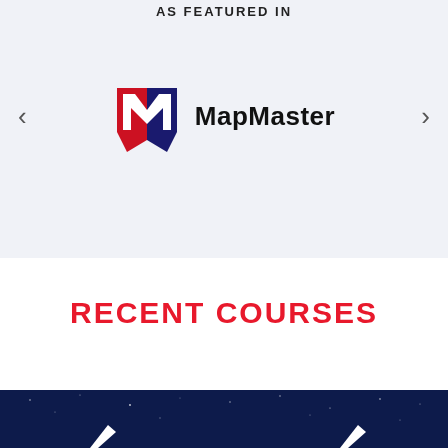AS FEATURED IN
[Figure (logo): MapMaster logo with red and blue M shield icon and text 'MapMaster']
RECENT COURSES
[Figure (photo): Dark blue starry night sky background with white lightning bolt shapes partially visible at bottom]